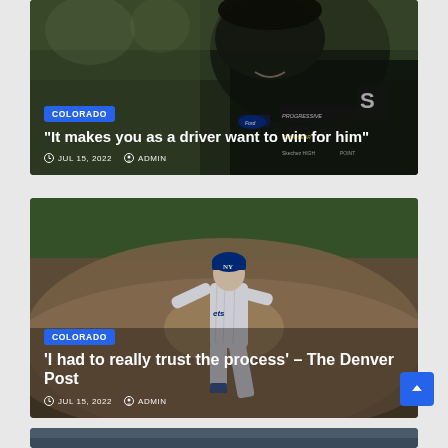[Figure (photo): NASCAR driver in black racing suit with sponsors including Progressive, Goodyear, Ford, Skechers, High Point. Man smiling, wearing a cap. Background shows crowd.]
COLORADO
“It makes you as a driver want to win for him”
JUL 15, 2022  ADMIN
[Figure (photo): New York Mets pitcher in white pinstripe uniform mid-pitch on a baseball mound with dirt infield visible.]
COLORADO
‘I had to really trust the process’ – The Denver Post
JUL 15, 2022  ADMIN
[Figure (photo): Partially visible sports photo at bottom of page, cropped.]